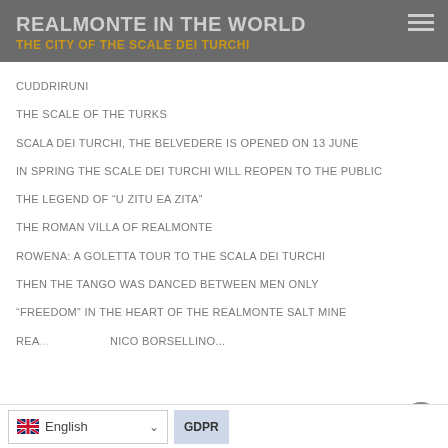REALMONTE IN THE WORLD
THE CITY OF THE SCALE DEI TURCHI
CUDDRIRUNI
THE SCALE OF THE TURKS
SCALA DEI TURCHI, THE BELVEDERE IS OPENED ON 13 JUNE
IN SPRING THE SCALE DEI TURCHI WILL REOPEN TO THE PUBLIC
THE LEGEND OF “U ZITU EA ZITA”
THE ROMAN VILLA OF REALMONTE
ROWENA: A GOLETTA TOUR TO THE SCALA DEI TURCHI
THEN THE TANGO WAS DANCED BETWEEN MEN ONLY
“FREEDOM” IN THE HEART OF THE REALMONTE SALT MINE
REA... NICO BORSELLINO...
English | GDPR